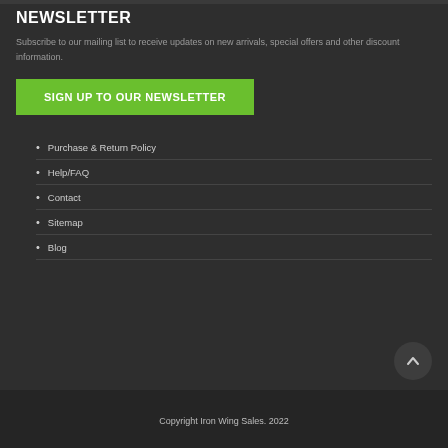NEWSLETTER
Subscribe to our mailing list to receive updates on new arrivals, special offers and other discount information.
SIGN UP TO OUR NEWSLETTER
Purchase & Return Policy
Help/FAQ
Contact
Sitemap
Blog
Copyright Iron Wing Sales. 2022